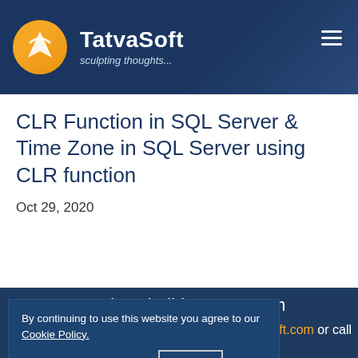TatvaSoft — sculpting thoughts...
CLR Function in SQL Server & Time Zone in SQL Server using CLR function
Oct 29, 2020
Ready to build your custom application solution?
By continuing to use this website you agree to our Cookie Policy. I Agree
oft.com or call